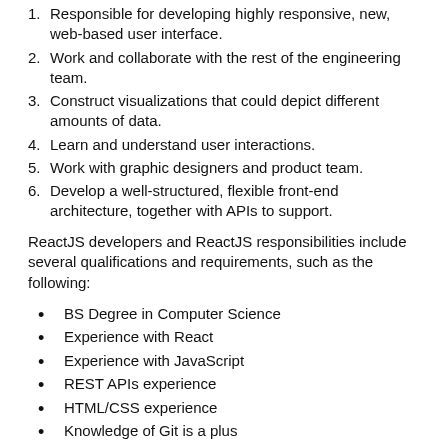1. Responsible for developing highly responsive, new, web-based user interface.
2. Work and collaborate with the rest of the engineering team.
3. Construct visualizations that could depict different amounts of data.
4. Learn and understand user interactions.
5. Work with graphic designers and product team.
6. Develop a well-structured, flexible front-end architecture, together with APIs to support.
ReactJS developers and ReactJS responsibilities include several qualifications and requirements, such as the following:
BS Degree in Computer Science
Experience with React
Experience with JavaScript
REST APIs experience
HTML/CSS experience
Knowledge of Git is a plus
Team player
Great communication and interpersonal skills
Good skills in time management